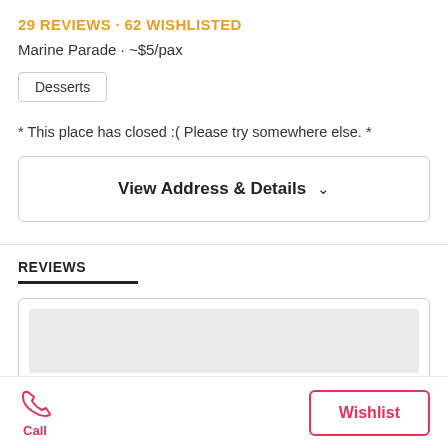29 REVIEWS · 62 WISHLISTED
Marine Parade · ~$5/pax
Desserts
* This place has closed :( Please try somewhere else. *
View Address & Details
REVIEWS
Call
Wishlist